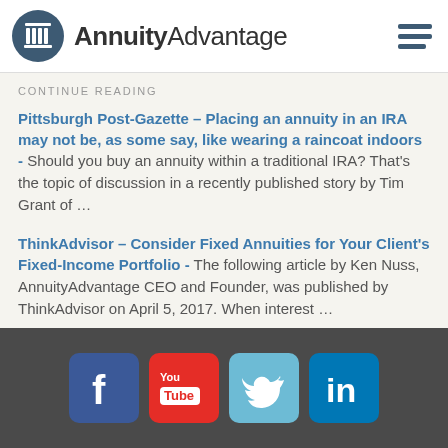AnnuityAdvantage
CONTINUE READING
Pittsburgh Post-Gazette – Placing an annuity in an IRA may not be, as some say, like wearing a raincoat indoors - Should you buy an annuity within a traditional IRA? That's the topic of discussion in a recently published story by Tim Grant of …
ThinkAdvisor – Consider Fixed Annuities for Your Client's Fixed-Income Portfolio - The following article by Ken Nuss, AnnuityAdvantage CEO and Founder, was published by ThinkAdvisor on April 5, 2017. When interest …
[Figure (other): Social media icons for Facebook, YouTube, Twitter, and LinkedIn in a dark gray footer bar]